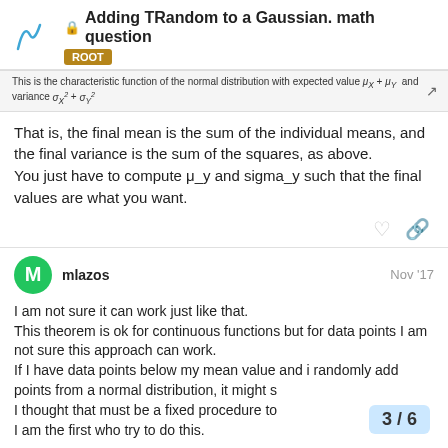Adding TRandom to a Gaussian. math question — ROOT
That is, the final mean is the sum of the individual means, and the final variance is the sum of the squares, as above.
You just have to compute μ_y and sigma_y such that the final values are what you want.
mlazos — Nov '17
I am not sure it can work just like that.
This theorem is ok for continuous functions but for data points I am not sure this approach can work.
If I have data points below my mean value and i randomly add points from a normal distribution, it might shift the... 
I thought that must be a fixed procedure to...
I am the first who try to do this.